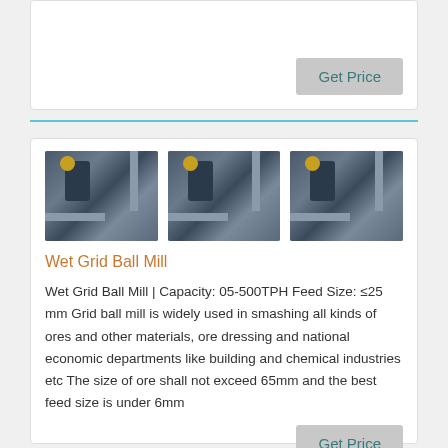[Figure (photo): Get Price button on top partial card]
[Figure (photo): Three photos of Wet Grid Ball Mill industrial machinery shown side by side]
Wet Grid Ball Mill
Wet Grid Ball Mill | Capacity: 05-500TPH Feed Size: ≤25 mm Grid ball mill is widely used in smashing all kinds of ores and other materials, ore dressing and national economic departments like building and chemical industries etc The size of ore shall not exceed 65mm and the best feed size is under 6mm
Get Price